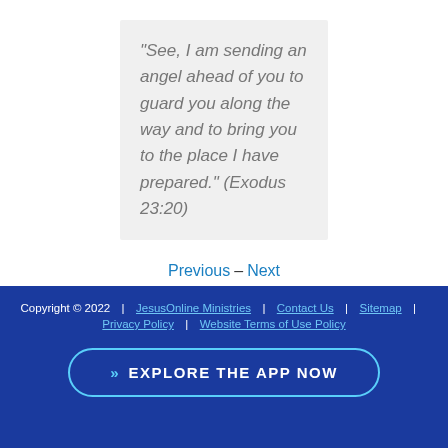“See, I am sending an angel ahead of you to guard you along the way and to bring you to the place I have prepared.” (Exodus 23:20)
Previous – Next
Copyright © 2022  |  JesusOnline Ministries  |  Contact Us  |  Sitemap  |  Privacy Policy  |  Website Terms of Use Policy
»  EXPLORE THE APP NOW